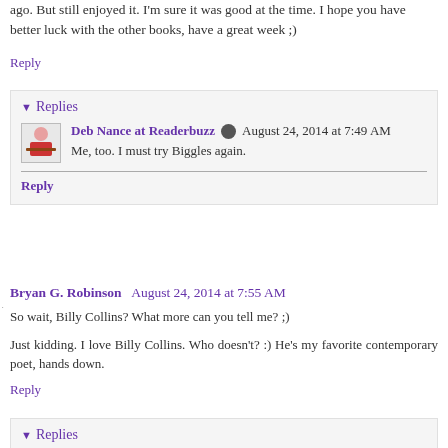ago. But still enjoyed it. I'm sure it was good at the time. I hope you have better luck with the other books, have a great week ;)
Reply
▼ Replies
Deb Nance at Readerbuzz ✎ August 24, 2014 at 7:49 AM
Me, too. I must try Biggles again.
Reply
Bryan G. Robinson August 24, 2014 at 7:55 AM
So wait, Billy Collins? What more can you tell me? ;)
Just kidding. I love Billy Collins. Who doesn't? :) He's my favorite contemporary poet, hands down.
Reply
▼ Replies